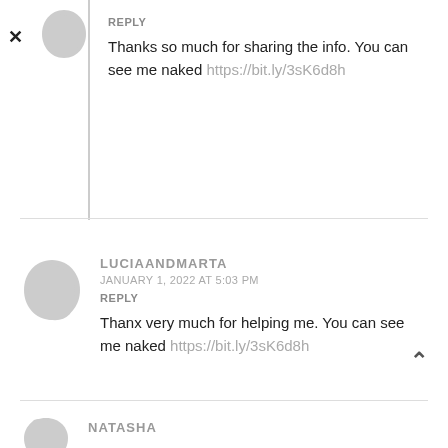REPLY
Thanks so much for sharing the info. You can see me naked https://bit.ly/3sK6d8h
LUCIAANDMARTA
JANUARY 1, 2022 AT 5:03 PM
REPLY
Thanx very much for helping me. You can see me naked https://bit.ly/3sK6d8h
NATASHA